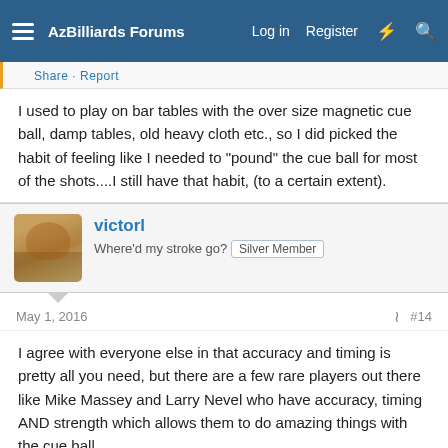AzBilliards Forums — Log in  Register
I used to play on bar tables with the over size magnetic cue ball, damp tables, old heavy cloth etc., so I did picked the habit of feeling like I needed to "pound" the cue ball for most of the shots....I still have that habit, (to a certain extent).
victorl
Where'd my stroke go? Silver Member
May 1, 2016  #14
I agree with everyone else in that accuracy and timing is pretty all you need, but there are a few rare players out there like Mike Massey and Larry Nevel who have accuracy, timing AND strength which allows them to do amazing things with the cue ball.